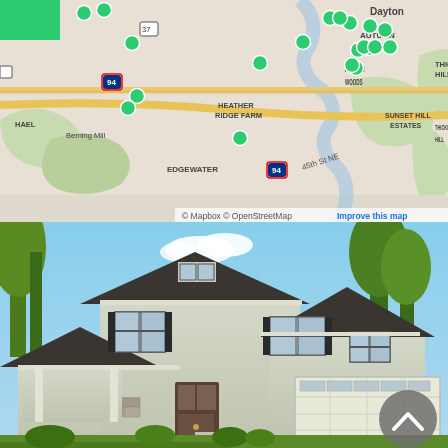[Figure (map): Mapbox/OpenStreetMap map showing a suburban area with neighborhoods including Dayton, Autumn Woods, Thicket Hill, Sunset Hill Estates, Heather Ridge Farm, Edgewater, Berning Mill, and highway I-94. Multiple green circular markers are placed at various locations on the map.]
© Mapbox © OpenStreetMap Improve this map
[Figure (photo): Exterior rendering/photo of a two-story craftsman-style house with light gray/green siding, dark shingle roof, two-car garage, front porch, and decorative shutters. Surrounded by trees with a blue sky background. A gray circular back/up navigation button is visible in the lower right corner.]